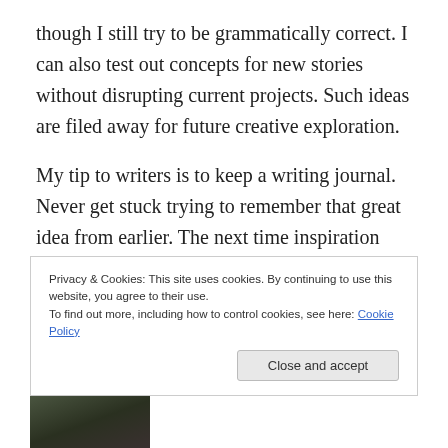though I still try to be grammatically correct. I can also test out concepts for new stories without disrupting current projects. Such ideas are filed away for future creative exploration.
My tip to writers is to keep a writing journal. Never get stuck trying to remember that great idea from earlier. The next time inspiration strikes, you will be ready.
Privacy & Cookies: This site uses cookies. By continuing to use this website, you agree to their use. To find out more, including how to control cookies, see here: Cookie Policy
[Figure (photo): Partially visible photograph at bottom of page, showing a dark outdoor scene]